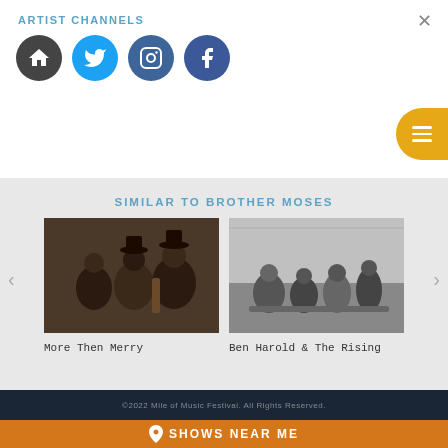ARTIST CHANNELS
[Figure (infographic): Four social media icons: home (dark gray circle), Twitter (blue circle with bird), Instagram (dark blue circle with camera), Facebook (dark blue circle with f)]
SIMILAR TO BROTHER MOSES
[Figure (photo): Photo of band More Then Merry - three men with guitars in dark setting]
More Then Merry
[Figure (photo): Black and white photo of Ben Harold & The Rising band members sitting]
Ben Harold & The Rising
©2022 Mile of Music Festival. All Rights Reserved.
SHOWS NEAR ME